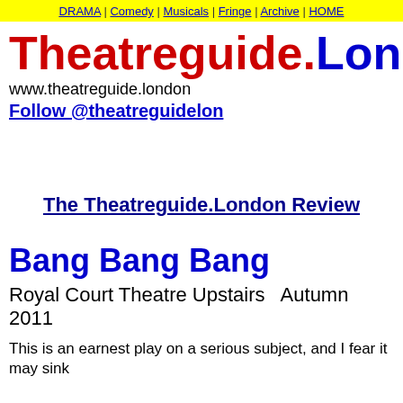DRAMA | Comedy | Musicals | Fringe | Archive | HOME
Theatreguide.London
www.theatreguide.london
Follow @theatreguidelon
The Theatreguide.London Review
Bang Bang Bang
Royal Court Theatre Upstairs   Autumn 2011
This is an earnest play on a serious subject, and I fear it may sink